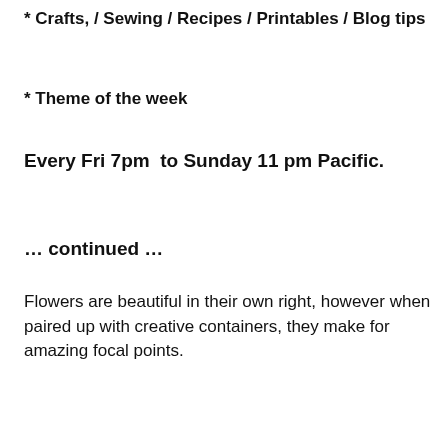* Crafts, / Sewing / Recipes / Printables / Blog tips
* Theme of the week
Every Fri 7pm  to Sunday 11 pm Pacific.
… continued …
Flowers are beautiful in their own right, however when paired up with creative containers, they make for amazing focal points.
[Figure (photo): Bottom portion of page showing a blurred flower/nature photo with a Pinterest 'Pin it' badge overlay and an advertisement for Boiler Service & Repair by Valley Boiler]